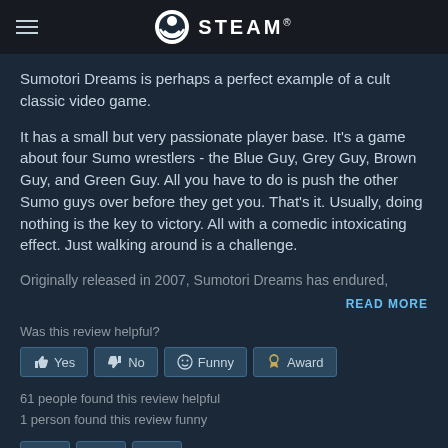STEAM
Sumotori Dreams is perhaps a perfect example of a cult classic video game.
It has a small but very passionate player base. It's a game about four Sumo wrestlers - the Blue Guy, Grey Guy, Brown Guy, and Green Guy. All you have to do is push the other Sumo guys over before they get you. That's it. Usually, doing nothing is the key to victory. All with a comedic intoxicating effect. Just walking around is a challenge.
Originally released in 2007, Sumotori Dreams has endured,
READ MORE
Was this review helpful?
Yes  No  Funny  Award
61 people found this review helpful
1 person found this review funny